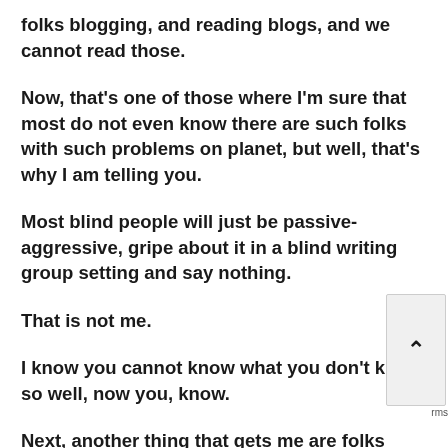folks blogging, and reading blogs, and we cannot read those.
Now, that's one of those where I'm sure that most do not even know there are such folks with such problems on planet, but well, that's why I am telling you.
Most blind people will just be passive-aggressive, gripe about it in a blind writing group setting and say nothing.
That is not me.
I know you cannot know what you don't know, so well, now you, know.
Next, another thing that gets me are folks who neve... do mean never blog about anything but self-destructive